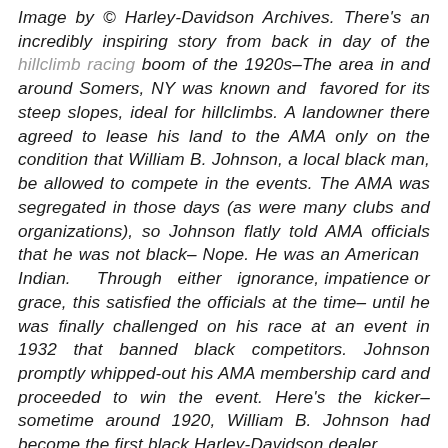Image by © Harley-Davidson Archives. There's an incredibly inspiring story from back in day of the hillclimb racing boom of the 1920s–The area in and around Somers, NY was known and favored for its steep slopes, ideal for hillclimbs. A landowner there agreed to lease his land to the AMA only on the condition that William B. Johnson, a local black man, be allowed to compete in the events. The AMA was segregated in those days (as were many clubs and organizations), so Johnson flatly told AMA officials that he was not black– Nope. He was an American Indian. Through either ignorance, impatience or grace, this satisfied the officials at the time– until he was finally challenged on his race at an event in 1932 that banned black competitors. Johnson promptly whipped-out his AMA membership card and proceeded to win the event. Here's the kicker– sometime around 1920, William B. Johnson had become the first black Harley-Davidson dealer